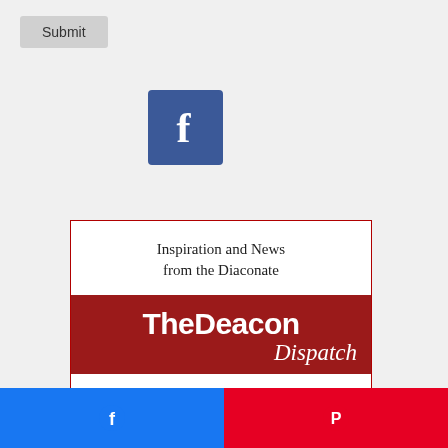[Figure (screenshot): Submit button (grey rounded rectangle)]
[Figure (logo): Facebook logo icon — white 'f' on blue square background]
[Figure (infographic): The Deacon Dispatch newsletter signup box. Top white section: 'Inspiration and News from the Diaconate'. Middle dark red section: 'The Deacon Dispatch' in large bold/italic white text. Bottom white section: 'In your inbox every other Thursday' with a dark red SUBSCRIBE button.]
[Figure (screenshot): Scroll-to-top button: white box with dark line and up-caret arrow]
[Figure (screenshot): Bottom share bar: blue Facebook share button on left, red Pinterest share button on right]